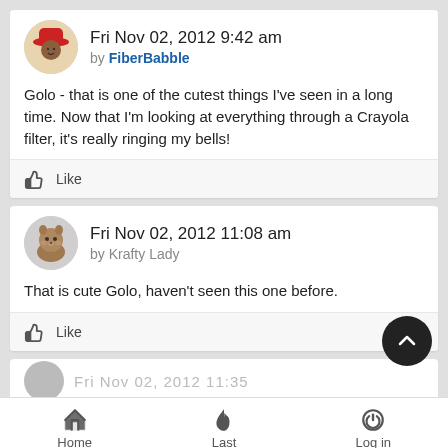Fri Nov 02, 2012 9:42 am by FiberBabble
Golo - that is one of the cutest things I've seen in a long time. Now that I'm looking at everything through a Crayola filter, it's really ringing my bells!
Like
Fri Nov 02, 2012 11:08 am by Krafty Lady
That is cute Golo, haven't seen this one before.
Like
Home   Last   Log in